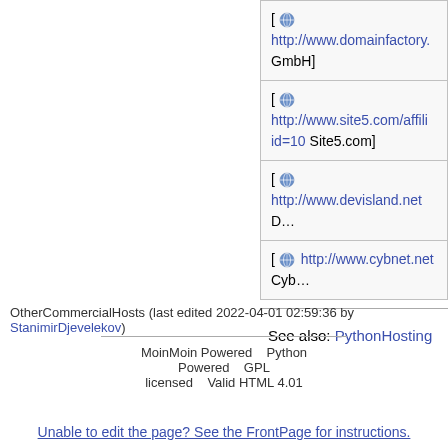| [ http://www.domainfactory. GmbH] |
| [ http://www.site5.com/affili id=10 Site5.com] |
| [ http://www.devisland.net D…] |
| [ http://www.cybnet.net Cyb…] |
See also: PythonHosting
OtherCommercialHosts (last edited 2022-04-01 02:59:36 by StanimirDjevelekov)
MoinMoin Powered  Python Powered  GPL licensed  Valid HTML 4.01
Unable to edit the page? See the FrontPage for instructions.